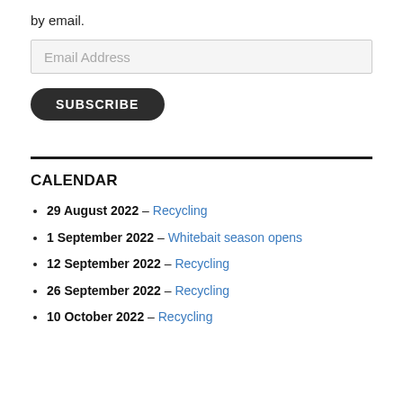by email.
Email Address
SUBSCRIBE
CALENDAR
29 August 2022 – Recycling
1 September 2022 – Whitebait season opens
12 September 2022 – Recycling
26 September 2022 – Recycling
10 October 2022 – Recycling